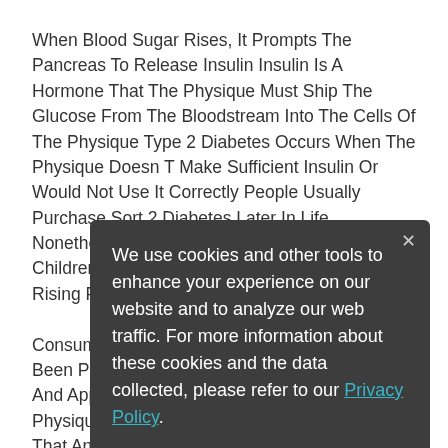When Blood Sugar Rises, It Prompts The Pancreas To Release Insulin Insulin Is A Hormone That The Physique Must Ship The Glucose From The Bloodstream Into The Cells Of The Physique Type 2 Diabetes Occurs When The Physique Doesn T Make Sufficient Insulin Or Would Not Use It Correctly People Usually Purchase Sort 2 Diabetes Later In Life, Nonetheless, With A Rise In Childhood Obesity, Children Are Creating Sort 2 Diabetes At An Rising Price.
Consumption Of Beta Glucans From Barley Has Been Proven To Cut Back Vitality Consumption And Appetite In People But As Quickly As Your Physique Is Used To, You Ll Feel Yo... Predict That An Indi... Preliminary Water Weight Gain A Number Of Weeks And Even Take Month After Starting An Train Routine Daily meal plan to lose
We use cookies and other tools to enhance your experience on our website and to analyze our web traffic. For more information about these cookies and the data collected, please refer to our Privacy Policy.